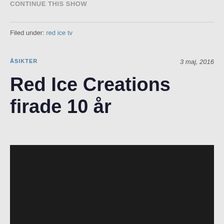CONTINUE THIS SHOW
Filed under: red ice tv
ÅSIKTER
3 maj, 2016
Red Ice Creations firade 10 år
[Figure (photo): Dark/black video player or embedded video area]